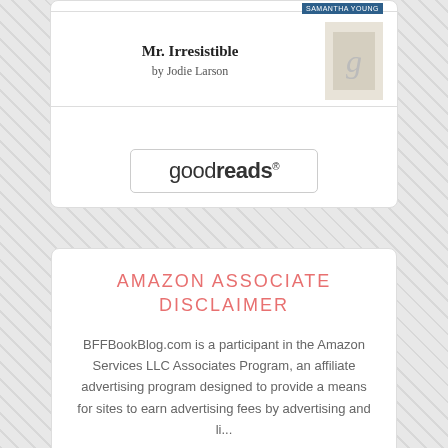[Figure (other): Goodreads widget card showing book 'Mr. Irresistible' by Jodie Larson with a goodreads button]
AMAZON ASSOCIATE DISCLAIMER
BFFBookBlog.com is a participant in the Amazon Services LLC Associates Program, an affiliate advertising program designed to provide a means for sites to earn advertising fees by advertising and linking to Amazon.com.